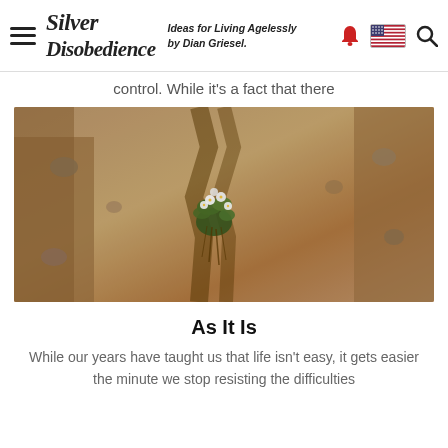Silver Disobedience — Ideas for Living Agelessly by Dian Griesel.
control. While it's a fact that there
[Figure (photo): A small flowering plant with white blossoms growing in a crack between sandy, rocky earth walls — a symbol of resilience in harsh conditions.]
As It Is
While our years have taught us that life isn't easy, it gets easier the minute we stop resisting the difficulties